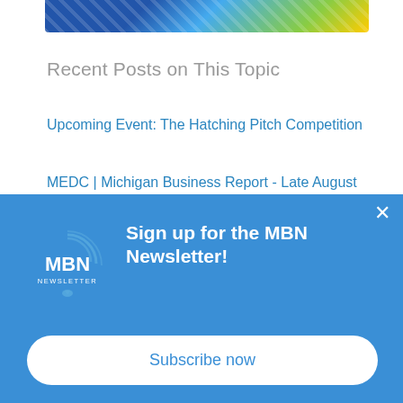[Figure (photo): Partial top image showing solar panels and greenery]
Recent Posts on This Topic
Upcoming Event: The Hatching Pitch Competition
MEDC | Michigan Business Report - Late August 2022
Updated: Changes in Unemployment Rate by State – WalletHub Study
[Figure (infographic): Blue MBN Newsletter sign-up banner with logo, heading 'Sign up for the MBN Newsletter!', close button, and Subscribe now button]